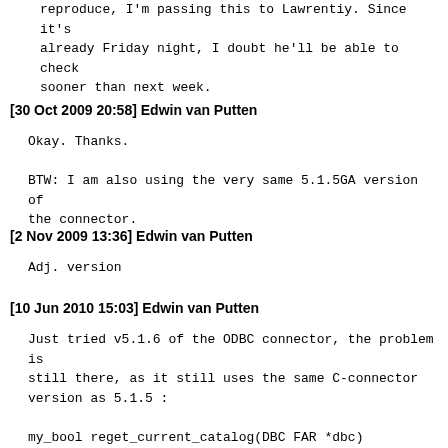reproduce, I'm passing this to Lawrentiy. Since it's already Friday night, I doubt he'll be able to check sooner than next week.
[30 Oct 2009 20:58] Edwin van Putten
Okay. Thanks.

BTW: I am also using the very same 5.1.5GA version of the connector.
[2 Nov 2009 13:36] Edwin van Putten
Adj. version
[10 Jun 2010 15:03] Edwin van Putten
Just tried v5.1.6 of the ODBC connector, the problem is still there, as it still uses the same C-connector version as 5.1.5 :

my_bool reget_current_catalog(DBC FAR *dbc)
{
<b>   my_free(dbc->database MYF(0)); </b> <--- why???